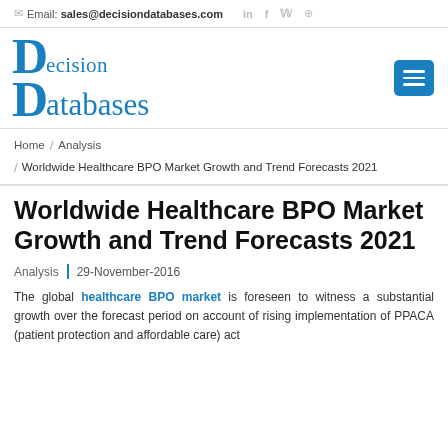Email: sales@decisiondatabases.com
[Figure (logo): Decision Databases logo with large stylized D letters in blue]
Home / Analysis / Worldwide Healthcare BPO Market Growth and Trend Forecasts 2021
Worldwide Healthcare BPO Market Growth and Trend Forecasts 2021
Analysis | 29-November-2016
The global healthcare BPO market is foreseen to witness a substantial growth over the forecast period on account of rising implementation of PPACA (patient protection and affordable care) act